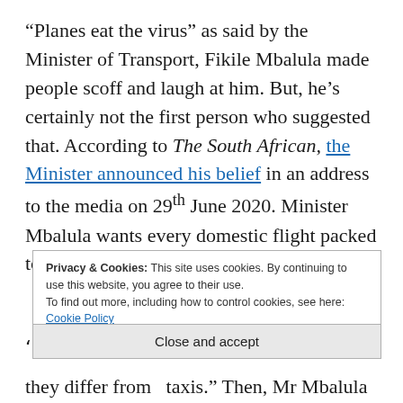“Planes eat the virus” as said by the Minister of Transport, Fikile Mbalula made people scoff and laugh at him. But, he’s certainly not the first person who suggested that. According to The South African, the Minister announced his belief in an address to the media on 29th June 2020. Minister Mbalula wants every domestic flight packed to 100% capacity.
Privacy & Cookies: This site uses cookies. By continuing to use this website, you agree to their use. To find out more, including how to control cookies, see here: Cookie Policy
Close and accept
they differ from  taxis.” Then, Mr Mbalula